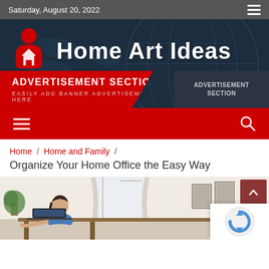Saturday, August 20, 2022
[Figure (logo): Home Art Ideas website header banner with logo (red figure icon with house), site title 'Home Art Ideas' in white on dark blue background with world map graphic, and advertisement section banner below]
[Figure (infographic): Red navigation bar with hamburger menu icon on left and search icon on right]
Home / Home and Family / Organize Your Home Office the Easy Way
[Figure (photo): Photo of a woman working at a home office desk in a bright, organized room]